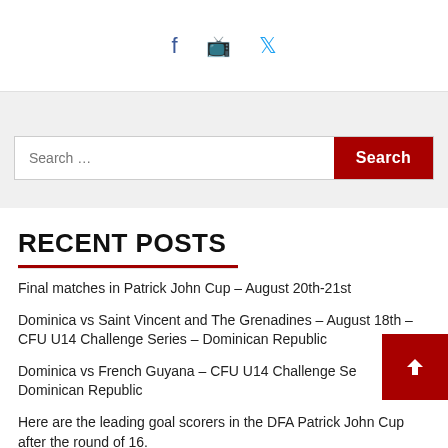[Figure (other): Social media icons: Facebook, YouTube, Twitter]
[Figure (other): Search bar with text input placeholder 'Search ...' and red 'Search' button]
RECENT POSTS
Final matches in Patrick John Cup – August 20th-21st
Dominica vs Saint Vincent and The Grenadines – August 18th – CFU U14 Challenge Series – Dominican Republic
Dominica vs French Guyana – CFU U14 Challenge Series – Dominican Republic
Here are the leading goal scorers in the DFA Patrick John Cup after the round of 16.